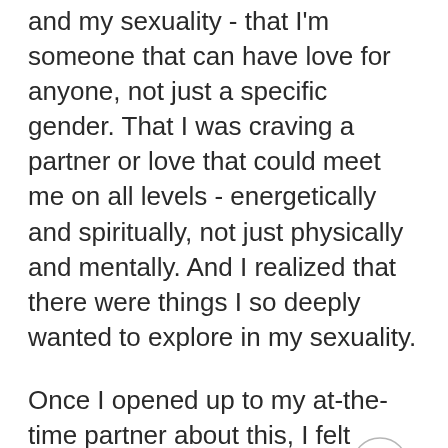and my sexuality - that I'm someone that can have love for anyone, not just a specific gender. That I was craving a partner or love that could meet me on all levels - energetically and spiritually, not just physically and mentally. And I realized that there were things I so deeply wanted to explore in my sexuality.
Once I opened up to my at-the-time partner about this, I felt immediate shifts in my identity and embodiment. Using my voice to share something so vulnerable and scary and owning my sensuality and sexual being, I immediately felt something click.
[Figure (other): A circular scroll-to-top button with an upward chevron arrow, outlined in light gray, overlapping the text.]